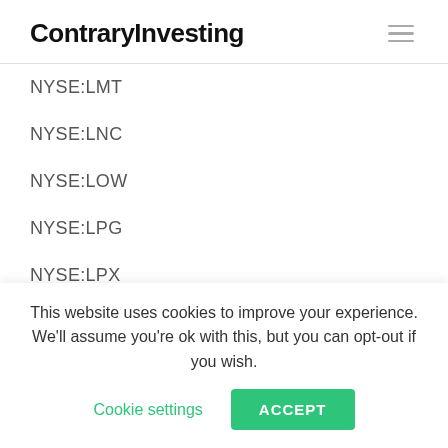ContraryInvesting
NYSE:LMT
NYSE:LNC
NYSE:LOW
NYSE:LPG
NYSE:LPX
NYSE:LQD
NYSE:LSI
NYSE:LTC
NYSE:LTS (partial)
This website uses cookies to improve your experience. We'll assume you're ok with this, but you can opt-out if you wish. Cookie settings ACCEPT